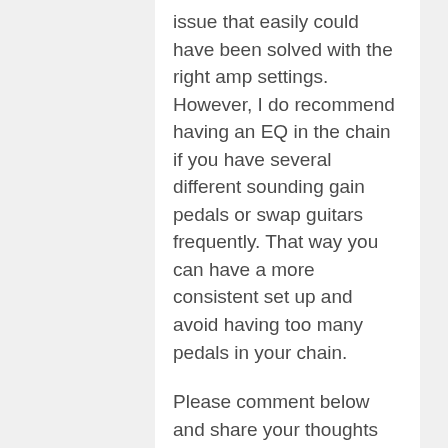issue that easily could have been solved with the right amp settings. However, I do recommend having an EQ in the chain if you have several different sounding gain pedals or swap guitars frequently. That way you can have a more consistent set up and avoid having too many pedals in your chain.
Please comment below and share your thoughts and experience on the subject!
Share this post: